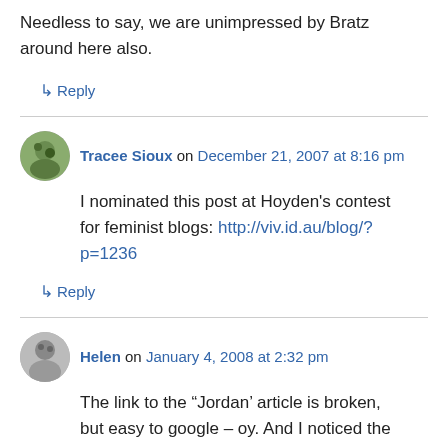Needless to say, we are unimpressed by Bratz around here also.
↳ Reply
Tracee Sioux on December 21, 2007 at 8:16 pm
I nominated this post at Hoyden's contest for feminist blogs: http://viv.id.au/blog/?p=1236
↳ Reply
Helen on January 4, 2008 at 2:32 pm
The link to the “Jordan’ article is broken, but easy to google – oy. And I noticed the forum topic de jour is “Are working mothers fit